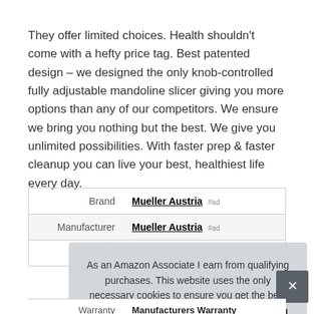They offer limited choices. Health shouldn't come with a hefty price tag. Best patented design – we designed the only knob-controlled fully adjustable mandoline slicer giving you more options than any of our competitors. We ensure we bring you nothing but the best. We give you unlimited possibilities. With faster prep & faster cleanup you can live your best, healthiest life every day.
|  |  |
| --- | --- |
| Brand | Mueller Austria #ad |
| Manufacturer | Mueller Austria #ad |
| P... |  |
| Warranty | Manufacturers Warranty |
As an Amazon Associate I earn from qualifying purchases. This website uses the only necessary cookies to ensure you get the best experience on our website. More information